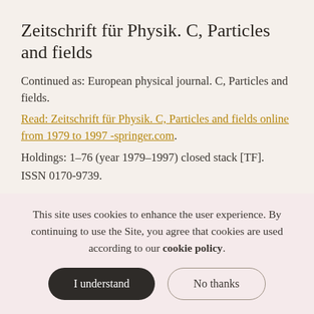Zeitschrift für Physik. C, Particles and fields
Continued as: European physical journal. C, Particles and fields.
Read: Zeitschrift für Physik. C, Particles and fields online from 1979 to 1997 -springer.com.
Holdings: 1–76 (year 1979–1997) closed stack [TF].
ISSN 0170-9739.
Zeitschrift für physik. D, Atoms, molecules and clusters
This site uses cookies to enhance the user experience. By continuing to use the Site, you agree that cookies are used according to our cookie policy.
I understand
No thanks